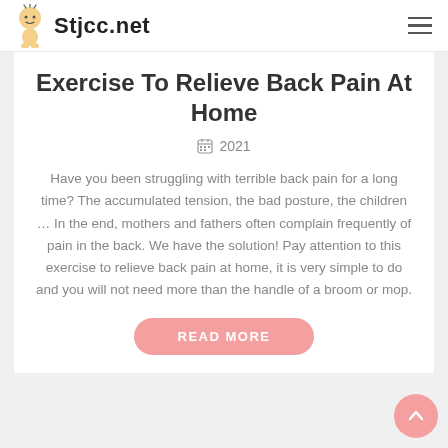Stjcc.net
Exercise To Relieve Back Pain At Home
2021
Have you been struggling with terrible back pain for a long time? The accumulated tension, the bad posture, the children … In the end, mothers and fathers often complain frequently of pain in the back. We have the solution! Pay attention to this exercise to relieve back pain at home, it is very simple to do and you will not need more than the handle of a broom or mop.
READ MORE